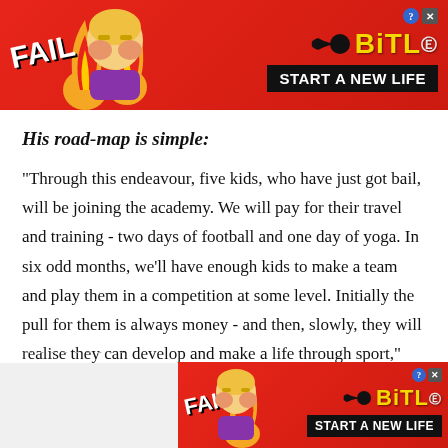[Figure (illustration): BitLife mobile game advertisement banner at top — red background with cartoon character, FAIL text, flame graphics, BitLife logo in yellow, and 'START A NEW LIFE' button in black]
His road-map is simple:
"Through this endeavour, five kids, who have just got bail, will be joining the academy. We will pay for their travel and training - two days of football and one day of yoga. In six odd months, we'll have enough kids to make a team and play them in a competition at some level. Initially the pull for them is always money - and then, slowly, they will realise they can develop and make a life through sport," Gupta added.
[Figure (illustration): BitLife mobile game advertisement banner at bottom right — red background with cartoon character, FAIL text, flame graphics, BitLife logo in yellow, and 'START A NEW LIFE' button in black]